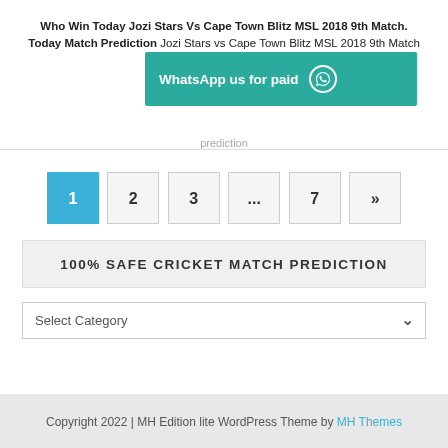Who Win Today Jozi Stars Vs Cape Town Blitz MSL 2018 9th Match. Today Match Prediction Jozi Stars vs Cape Town Blitz MSL 2018 9th Match playing at New Wanderers Stadium. Today Match Prediction
[Figure (other): WhatsApp us for paid button/banner in teal color with WhatsApp icon]
prediction
1 2 3 ... 7 » pagination navigation
100% SAFE CRICKET MATCH PREDICTION
Select Category dropdown
Copyright 2022 | MH Edition lite WordPress Theme by MH Themes